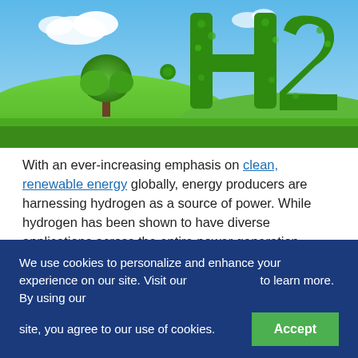[Figure (photo): Green landscape with rolling hills and a tree on the left. Large H2 letters made of green leaves/foliage on the right side against a blue sky with white clouds.]
With an ever-increasing emphasis on clean, renewable energy globally, energy producers are harnessing hydrogen as a source of power. While hydrogen has been shown to have diverse applications across the entire power generation spectrum, it must first be processed into useful
We use cookies to personalize and enhance your experience on our site. Visit our [privacy policy] to learn more. By using our site, you agree to our use of cookies. [Accept]